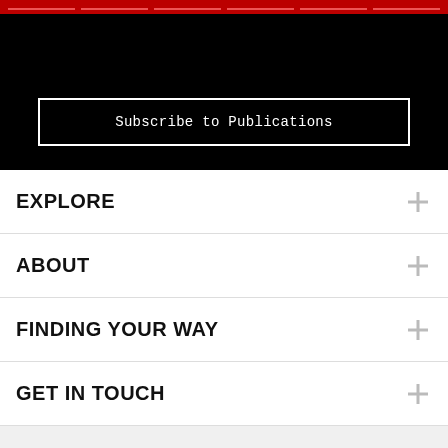[Figure (screenshot): Black header area with red navigation bar at top and a white-bordered Subscribe to Publications button]
Subscribe to Publications
EXPLORE
ABOUT
FINDING YOUR WAY
GET IN TOUCH
MORE
[Figure (screenshot): Blue footer bar with three items: Call (phone icon), Request appointment (calendar icon), MyChart (person icon)]
Call
Request appointment
MyChart